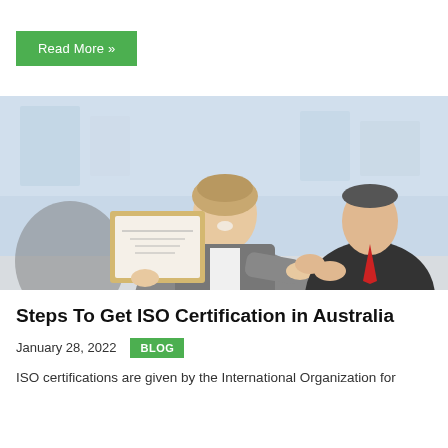Read More »
[Figure (photo): A smiling businesswoman in a grey blazer holding up a framed certificate, with a man in a suit applauding in the background, in an office setting.]
Steps To Get ISO Certification in Australia
January 28, 2022   BLOG
ISO certifications are given by the International Organization for